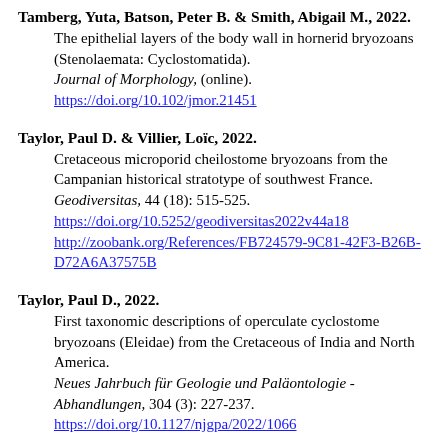Tamberg, Yuta, Batson, Peter B. & Smith, Abigail M., 2022. The epithelial layers of the body wall in hornerid bryozoans (Stenolaemata: Cyclostomatida). Journal of Morphology, (online). https://doi.org/10.102/jmor.21451
Taylor, Paul D. & Villier, Loïc, 2022. Cretaceous microporid cheilostome bryozoans from the Campanian historical stratotype of southwest France. Geodiversitas, 44 (18): 515-525. https://doi.org/10.5252/geodiversitas2022v44a18 http://zoobank.org/References/FB724579-9C81-42F3-B26B-D72A6A37575B
Taylor, Paul D., 2022. First taxonomic descriptions of operculate cyclostome bryozoans (Eleidae) from the Cretaceous of India and North America. Neues Jahrbuch für Geologie und Paläontologie - Abhandlungen, 304 (3): 227-237. https://doi.org/10.1127/njgpa/2022/1066
Temereva, Elena N., Isaeva, Maria A. & Kosevich, Igor A., 2022.